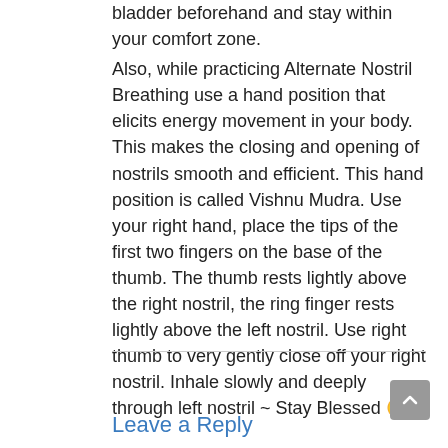bladder beforehand and stay within your comfort zone. Also, while practicing Alternate Nostril Breathing use a hand position that elicits energy movement in your body. This makes the closing and opening of nostrils smooth and efficient. This hand position is called Vishnu Mudra. Use your right hand, place the tips of the first two fingers on the base of the thumb. The thumb rests lightly above the right nostril, the ring finger rests lightly above the left nostril. Use right thumb to very gently close off your right nostril. Inhale slowly and deeply through left nostril ~ Stay Blessed 🙂
Leave a Reply